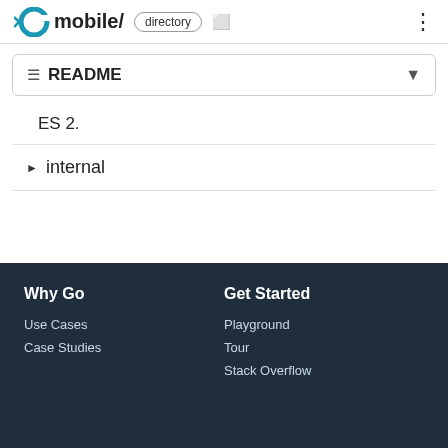GO mobile/ directory
≡ README
ES 2.
▶ internal
Why Go
Use Cases
Case Studies
Get Started
Playground
Tour
Stack Overflow